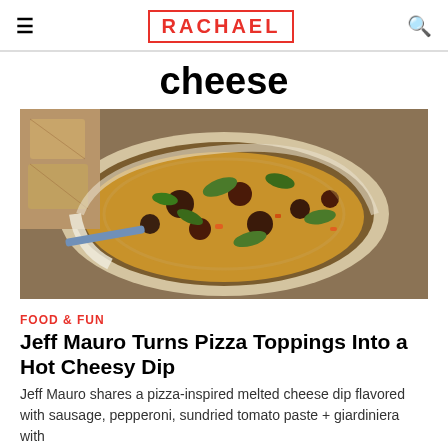RACHAEL
cheese
[Figure (photo): A baked cheesy pizza dip in a casserole dish, topped with vegetables, sausage, and herbs, with crackers visible in the background.]
FOOD & FUN
Jeff Mauro Turns Pizza Toppings Into a Hot Cheesy Dip
Jeff Mauro shares a pizza-inspired melted cheese dip flavored with sausage, pepperoni, sundried tomato paste + giardiniera with